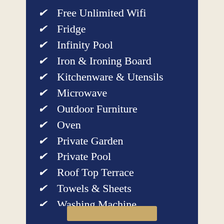Free Unlimited Wifi
Fridge
Infinity Pool
Iron & Ironing Board
Kitchenware & Utensils
Microwave
Outdoor Furniture
Oven
Private Garden
Private Pool
Roof Top Terrace
Towels & Sheets
Washing Machine